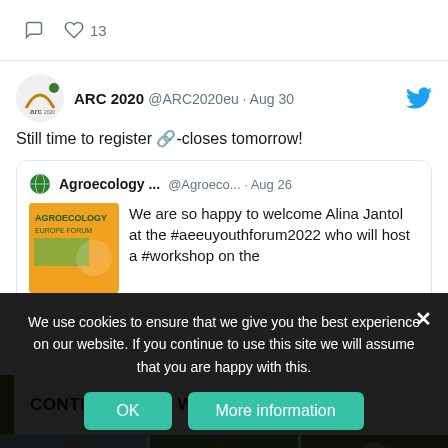[Figure (screenshot): Tweet interaction icons: comment bubble and heart with count 13]
[Figure (screenshot): Tweet from ARC 2020 @ARC2020eu · Aug 30: 'Still time to register -closes tomorrow!' with a quoted tweet from Agroecology ... @Agroeco... · Aug 26: 'We are so happy to welcome Alina Jantol at the #aeeuyouthforum2022 who will host a #workshop on the...' with an orange event image]
CONTRIBUTORS WANTED
[Figure (photo): Three partial photos of people side by side at bottom of page]
We use cookies to ensure that we give you the best experience on our website. If you continue to use this site we will assume that you are happy with this.